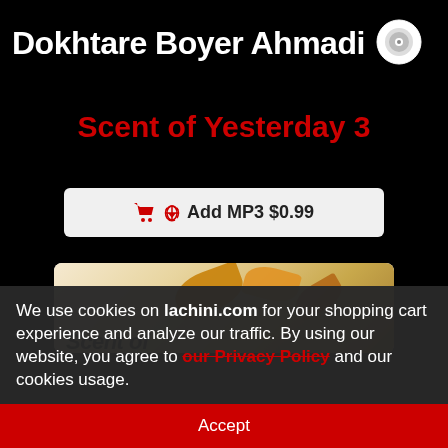Dokhtare Boyer Ahmadi
Scent of Yesterday 3
Add MP3 $0.99
[Figure (photo): Album cover showing autumn leaves with text 'Scent of']
We use cookies on lachini.com for your shopping cart experience and analyze our traffic. By using our website, you agree to our Privacy Policy and our cookies usage.
Accept